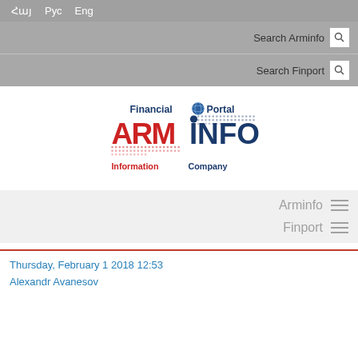Հայ  Рус  Eng
Search Arminfo
Search Finport
[Figure (logo): ArmInfo Financial Portal Information Company logo with globe graphic]
Arminfo
Finport
Thursday, February 1 2018 12:53
Alexandr Avanesov